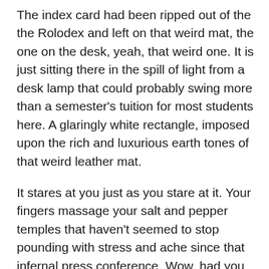The index card had been ripped out of the the Rolodex and left on that weird mat, the one on the desk, yeah, that weird one. It is just sitting there in the spill of light from a desk lamp that could probably swing more than a semester's tuition for most students here. A glaringly white rectangle, imposed upon the rich and luxurious earth tones of that weird leather mat.
It stares at you just as you stare at it. Your fingers massage your salt and pepper temples that haven't seemed to stop pounding with stress and ache since that infernal press conference. Wow, had you gotten hammered for that one in the press. Apparently nobody ended up happy afterwards. No one. Who knew?
You really have no desire to make that phone call. None. The numbers are there. But you have a better